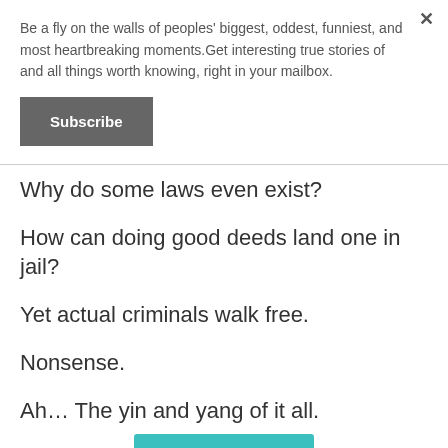Be a fly on the walls of peoples' biggest, oddest, funniest, and most heartbreaking moments.Get interesting true stories of and all things worth knowing, right in your mailbox.
Subscribe
Why do some laws even exist?

How can doing good deeds land one in jail?

Yet actual criminals walk free.

Nonsense.

Ah… The yin and yang of it all.